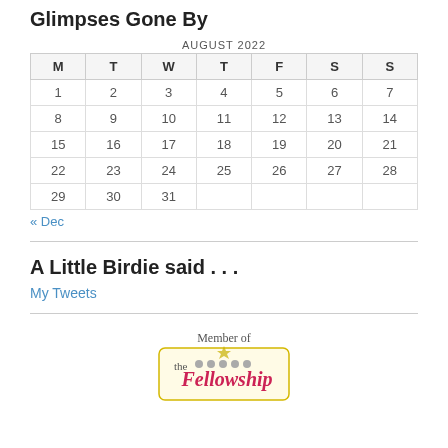Glimpses Gone By
AUGUST 2022
| M | T | W | T | F | S | S |
| --- | --- | --- | --- | --- | --- | --- |
| 1 | 2 | 3 | 4 | 5 | 6 | 7 |
| 8 | 9 | 10 | 11 | 12 | 13 | 14 |
| 15 | 16 | 17 | 18 | 19 | 20 | 21 |
| 22 | 23 | 24 | 25 | 26 | 27 | 28 |
| 29 | 30 | 31 |  |  |  |  |
« Dec
A Little Birdie said . . .
My Tweets
[Figure (logo): Member of the Fellowship badge/logo]